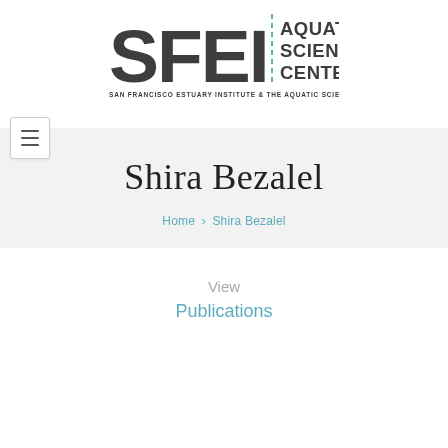[Figure (logo): SFEI Aquatic Science Center logo — 'SFEI' in large bold dark gray letters with a vertical dashed teal line separator, then 'AQUATIC SCIENCE CENTER' stacked vertically in bold dark gray, and below in small caps 'SAN FRANCISCO ESTUARY INSTITUTE & THE AQUATIC SCIENCE CENTER']
[Figure (other): Hamburger/menu icon — a small square button with three horizontal lines, representing a navigation menu]
Shira Bezalel
Home › Shira Bezalel
View
Publications